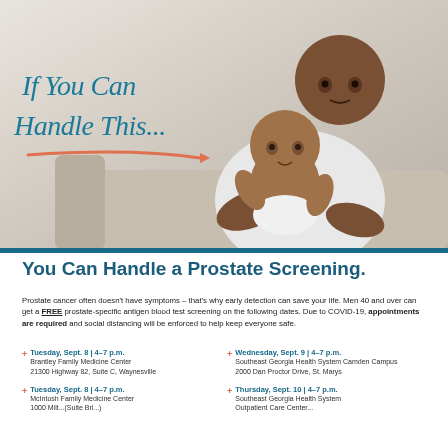[Figure (photo): A Black man in a white t-shirt holding and changing a baby's diaper, with handwritten-style cursive text overlay reading 'If You Can Handle This...' with a salmon/coral arrow beneath, on a light neutral background]
You Can Handle a Prostate Screening.
Prostate cancer often doesn't have symptoms – that's why early detection can save your life. Men 40 and over can get a FREE prostate-specific antigen blood test screening on the following dates. Due to COVID-19, appointments are required and social distancing will be enforced to help keep everyone safe.
Tuesday, Sept. 8 | 4–7 p.m. Brantley Family Medicine Center 21300 Highway 82, Suite C, Waynesville
Wednesday, Sept. 9 | 4–7 p.m. Southeast Georgia Health System Camden Campus 2000 Dan Proctor Drive, St. Marys
Tuesday, Sept. 8 | 4–7 p.m. McIntosh Family Medicine Center 1000 Milt... (Suite Bri...)
Thursday, Sept. 10 | 4–7 p.m. Southeast Georgia Health System Outpatient Care Center...